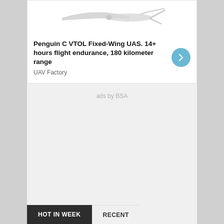[Figure (photo): Partial view of a fixed-wing drone/UAS aircraft against white background, showing wings and fuselage]
Penguin C VTOL Fixed-Wing UAS. 14+ hours flight endurance, 180 kilometer range
UAV Factory
ads by BSA
HOT IN WEEK
RECENT